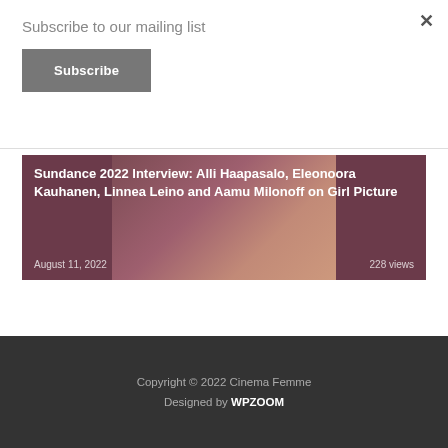×
Subscribe to our mailing list
Subscribe
Sundance 2022 Interview: Alli Haapasalo, Eleonoora Kauhanen, Linnea Leino and Aamu Milonoff on Girl Picture
August 11, 2022
228 views
Copyright © 2022 Cinema Femme
Designed by WPZOOM